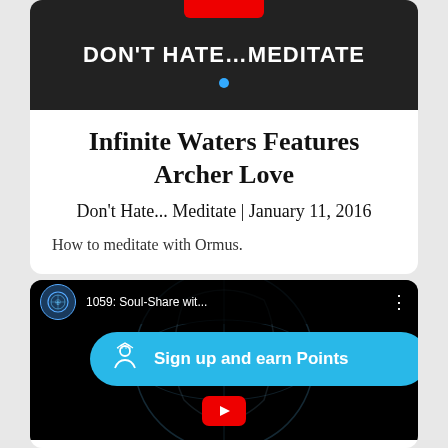[Figure (screenshot): Video thumbnail showing text 'DON'T HATE...MEDITATE' in white bold font on dark background with red bar at top]
Infinite Waters Features Archer Love
Don't Hate... Meditate | January 11, 2016
How to meditate with Ormus.
[Figure (screenshot): YouTube video thumbnail for '1059: Soul-Share wit...' showing head silhouette with globe design and a 'Sign up and earn Points' banner overlay in blue]